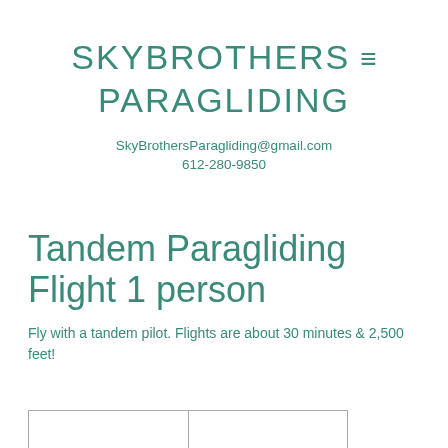SKYBROTHERS ≡ PARAGLIDING
SkyBrothersParagliding@gmail.com
612-280-9850
Tandem Paragliding Flight 1 person
Fly with a tandem pilot. Flights are about 30 minutes & 2,500 feet!
|  |  |